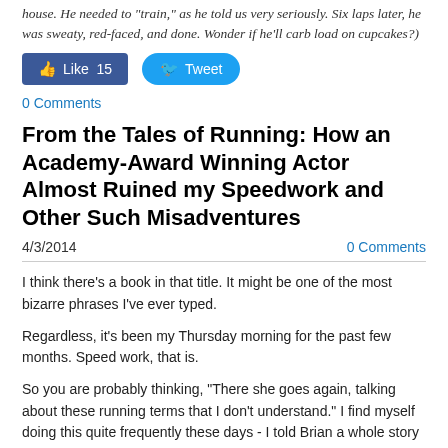house. He needed to "train," as he told us very seriously. Six laps later, he was sweaty, red-faced, and done. Wonder if he'll carb load on cupcakes?)
[Figure (other): Facebook Like button (Like 15) and Twitter Tweet button]
0 Comments
From the Tales of Running: How an Academy-Award Winning Actor Almost Ruined my Speedwork and Other Such Misadventures
4/3/2014
0 Comments
I think there's a book in that title. It might be one of the most bizarre phrases I've ever typed.
Regardless, it's been my Thursday morning for the past few months. Speed work, that is.
So you are probably thinking, "There she goes again, talking about these running terms that I don't understand." I find myself doing this quite frequently these days - I told Brian a whole story about taper